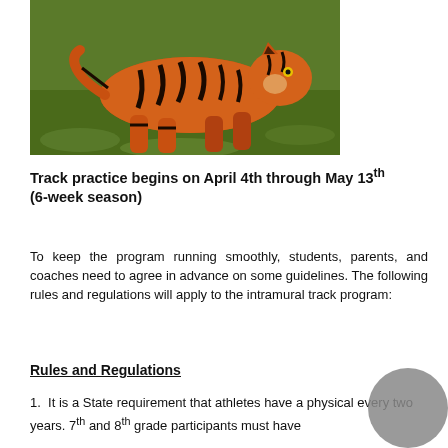[Figure (photo): A tiger running on green grass]
Track practice begins on April 4th through May 13th (6-week season)
To keep the program running smoothly, students, parents, and coaches need to agree in advance on some guidelines. The following rules and regulations will apply to the intramural track program:
Rules and Regulations
1.  It is a State requirement that athletes have a physical every two years. 7th and 8th grade participants must have